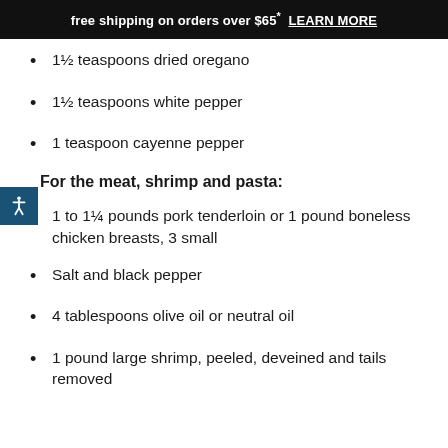free shipping on orders over $65* LEARN MORE
1½ teaspoons dried oregano
1½ teaspoons white pepper
1 teaspoon cayenne pepper
For the meat, shrimp and pasta:
1 to 1¼ pounds pork tenderloin or 1 pound boneless chicken breasts, 3 small
Salt and black pepper
4 tablespoons olive oil or neutral oil
1 pound large shrimp, peeled, deveined and tails removed